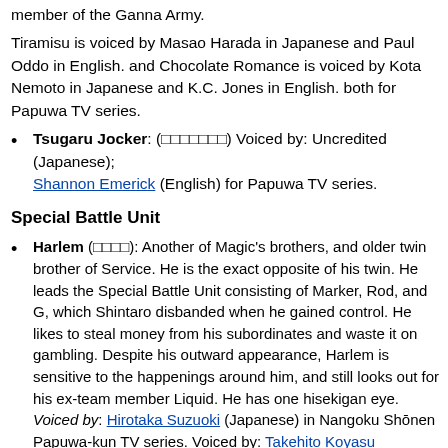member of the Ganna Army.
Tiramisu is voiced by Masao Harada in Japanese and Paul Oddo in English. and Chocolate Romance is voiced by Kota Nemoto in Japanese and K.C. Jones in English. both for Papuwa TV series.
Tsugaru Jocker: (□□□□□□□) Voiced by: Uncredited (Japanese); Shannon Emerick (English) for Papuwa TV series.
Special Battle Unit
Harlem (□□□□): Another of Magic's brothers, and older twin brother of Service. He is the exact opposite of his twin. He leads the Special Battle Unit consisting of Marker, Rod, and G, which Shintaro disbanded when he gained control. He likes to steal money from his subordinates and waste it on gambling. Despite his outward appearance, Harlem is sensitive to the happenings around him, and still looks out for his ex-team member Liquid. He has one hisekigan eye. Voiced by: Hirotaka Suzuoki (Japanese) in Nangoku Shōnen Papuwa-kun TV series. Voiced by: Takehito Koyasu (Japanese); Mike MacRae (English) for Papuwa TV series. Both he and Service are 43 in the first series.
Marker: (□□□□) Marker is a Chinese warrior, very calm and composed. He is especially skilled with a sword, and